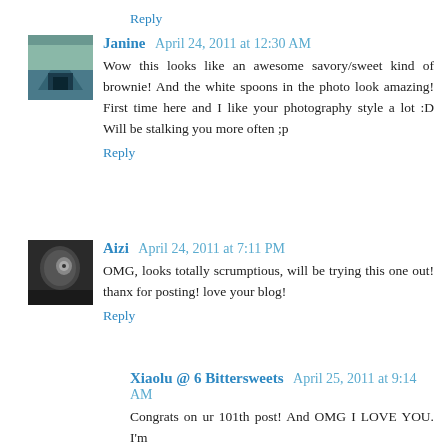Reply
Janine  April 24, 2011 at 12:30 AM
Wow this looks like an awesome savory/sweet kind of brownie! And the white spoons in the photo look amazing! First time here and I like your photography style a lot :D Will be stalking you more often ;p
Reply
Aizi  April 24, 2011 at 7:11 PM
OMG, looks totally scrumptious, will be trying this one out! thanx for posting! love your blog!
Reply
Xiaolu @ 6 Bittersweets  April 25, 2011 at 9:14 AM
Congrats on ur 101th post! And OMG I LOVE YOU. I'm